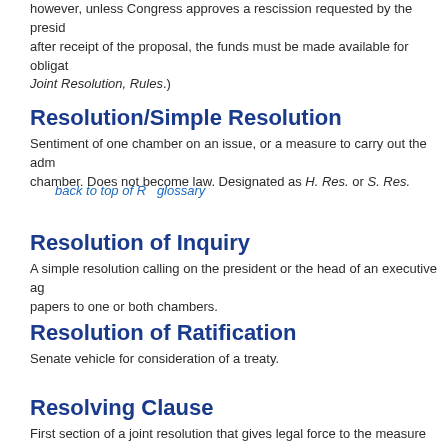however, unless Congress approves a rescission requested by the president within 45 days after receipt of the proposal, the funds must be made available for obligation. (See also Joint Resolution, Rules.)
Resolution/Simple Resolution
Sentiment of one chamber on an issue, or a measure to carry out the administration of the chamber. Does not become law. Designated as H. Res. or S. Res.
back to top of R  glossary
Resolution of Inquiry
A simple resolution calling on the president or the head of an executive agency to submit papers to one or both chambers.
Resolution of Ratification
Senate vehicle for consideration of a treaty.
Resolving Clause
First section of a joint resolution that gives legal force to the measure when enacted. House of Representatives of the United States of America in Congress ass...